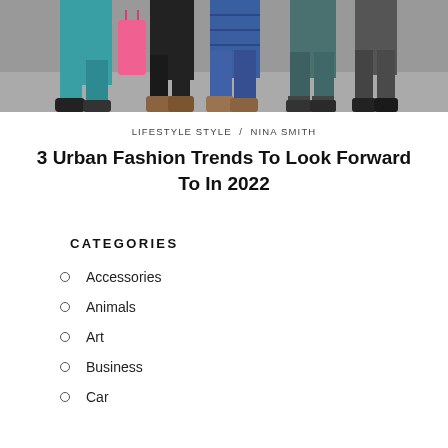[Figure (photo): Cropped street fashion photo showing the lower half of multiple people wearing various colorful outfits and shoes on a city sidewalk. Visible are teal/green wide-leg pants, brown boots, sandals, and a pink shopping bag.]
LIFESTYLE STYLE / NINA SMITH
3 Urban Fashion Trends To Look Forward To In 2022
CATEGORIES
Accessories
Animals
Art
Business
Car